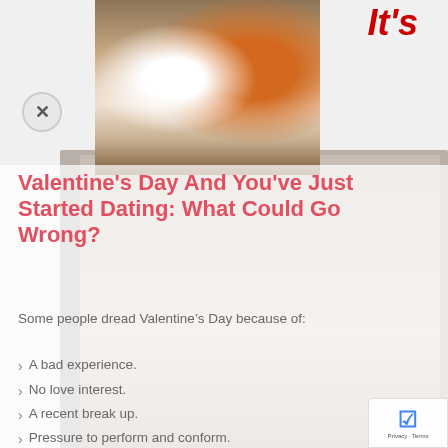It's
[Figure (photo): Top image showing a couple (Asian woman and man) at a cafe table, smiling and talking]
[Figure (photo): Background photo of a man with wide eyes and glasses, hands covering mouth in shocked/worried expression]
Valentine's Day And You've Just Started Dating: What Could Go Wrong?
Some people dread Valentine’s Day because of:
A bad experience.
No love interest.
A recent break up.
Pressure to perform and conform.